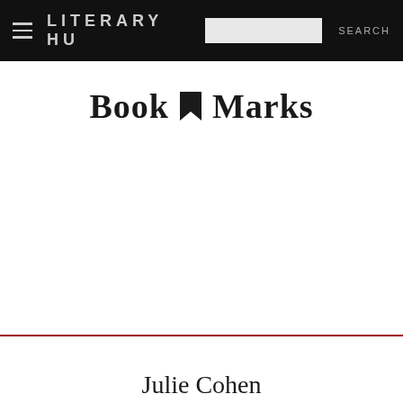LITERARY HU  SEARCH
Book Marks
Julie Cohen